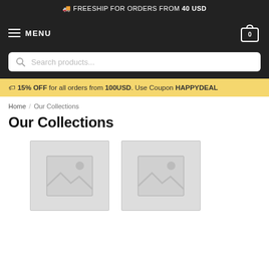🚚 FREESHIP FOR ORDERS FROM 40 USD
≡ MENU
Search products...
🏷 15% OFF for all orders from 100USD. Use Coupon HAPPYDEAL
Home / Our Collections
Our Collections
[Figure (photo): Placeholder image thumbnail 1]
[Figure (photo): Placeholder image thumbnail 2]